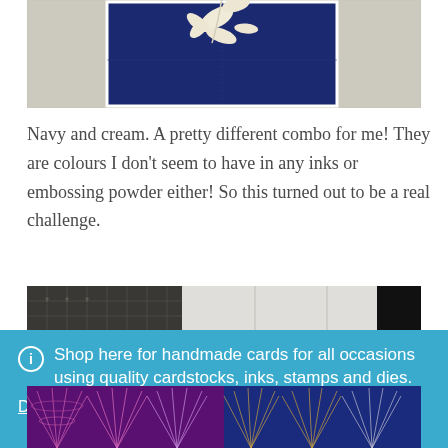[Figure (photo): Partial view of a navy blue handmade card with cream/white leaf embellishments on a textured light beige background]
Navy and cream. A pretty different combo for me! They are colours I don't seem to have in any inks or embossing powder either! So this turned out to be a real challenge.
[Figure (photo): Partial view of a cutting mat with grid lines and craft supplies on a white tiled background]
Shop here for handmade cards for all occasions using quality cardstocks, inks, stamps and dies.
Dismiss
[Figure (photo): Close-up of decorative patterned cardstock papers with geometric fan/art deco designs in purple, blue and navy colors with gold/white lines]